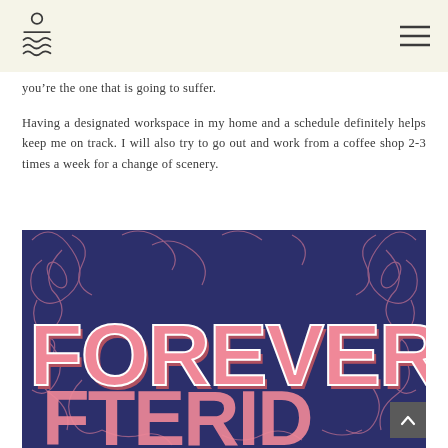[Logo icon] [Hamburger menu]
you’re the one that is going to suffer.
Having a designated workspace in my home and a schedule definitely helps keep me on track. I will also try to go out and work from a coffee shop 2-3 times a week for a change of scenery.
[Figure (illustration): Decorative typographic illustration with dark navy blue background and pink swirling floral ornaments. Large bold stylized letters reading 'FOREVER' in pink/salmon 3D lettering with partial text below cut off by page edge.]